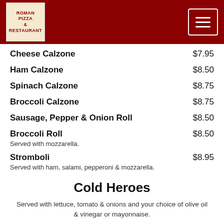Roman Pizza & Restaurant
Cheese Calzone  $7.95
Ham Calzone  $8.50
Spinach Calzone  $8.75
Broccoli Calzone  $8.75
Sausage, Pepper & Onion Roll  $8.50
Broccoli Roll  $8.50
Served with mozzarella.
Stromboli  $8.95
Served with ham, salami, pepperoni & mozzarella.
Cold Heroes
Served with lettuce, tomato & onions and your choice of olive oil & vinegar or mayonnaise.
Fresh Mozzarella, Roasted Peppers &  $9.95